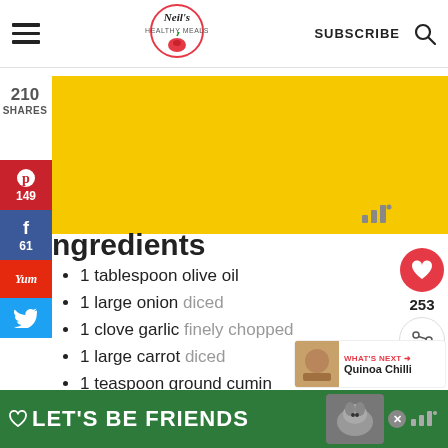Neil's Healthy Meals — SUBSCRIBE
[Figure (other): Yellow advertisement banner, partially visible]
210 SHARES
[Figure (infographic): Social sharing sidebar with Pinterest (149), Facebook (61), Yummly, Twitter buttons]
Ingredients
1 tablespoon olive oil
1 large onion diced
1 clove garlic finely chopped
1 large carrot diced
1 teaspoon ground cumin
1 teaspoon chilli powder
1 x 400g tin kidney beans
[Figure (other): What's Next promo widget for Quinoa Chilli]
[Figure (other): Bottom green Let's Be Friends advertisement banner with dog photo]